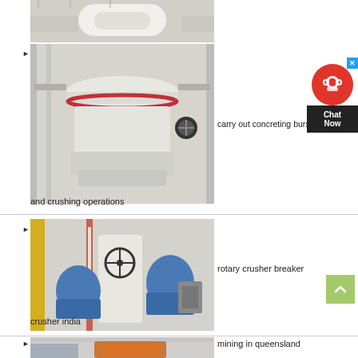[Figure (photo): Partial top view of industrial crushing or grinding machine in a factory, white machine visible]
[Figure (photo): Industrial cone crusher machine in a factory setting, white and grey colors]
carry out concreting bursting and crushing operations
[Figure (photo): Industrial grinding mill machine with blue motor components in a factory]
rotary crusher breaker crusher india
[Figure (photo): Industrial crusher machine, partially visible at bottom of page, orange and grey colors]
mining in queensland